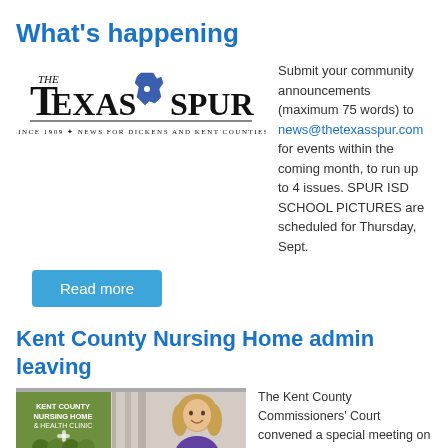What's happening
[Figure (logo): The Texas Spur newspaper logo — 'THE TEXAS SPUR, Since 1909 * News for Dickens and Kent Counties']
Submit your community announcements (maximum 75 words) to news@thetexasspur.com for events within the coming month, to run up to 4 issues. SPUR ISD SCHOOL PICTURES are scheduled for Thursday, Sept.
Read more
Kent County Nursing Home admin leaving
[Figure (photo): Left panel: Kent County Nursing Home & Health Clinic logo (green). Below it: LTCM (Loree Tamayo Consulting & Management) logo. Right panel: photo of a woman with blonde hair wearing a purple top.]
The Kent County Commissioners' Court convened a special meeting on Friday, Aug. 31, 2018 during which they approved a management agreement with Loree Tamayo Consulting, Inc.